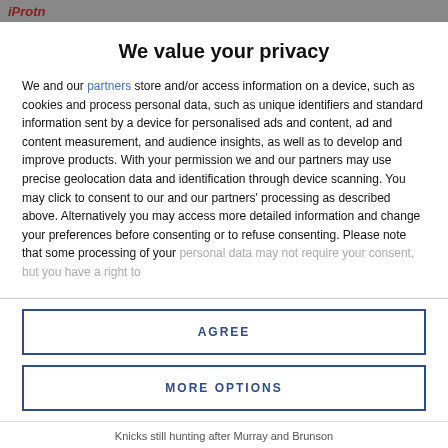iProtn
We value your privacy
We and our partners store and/or access information on a device, such as cookies and process personal data, such as unique identifiers and standard information sent by a device for personalised ads and content, ad and content measurement, and audience insights, as well as to develop and improve products. With your permission we and our partners may use precise geolocation data and identification through device scanning. You may click to consent to our and our partners' processing as described above. Alternatively you may access more detailed information and change your preferences before consenting or to refuse consenting. Please note that some processing of your personal data may not require your consent, but you have a right to
AGREE
MORE OPTIONS
Knicks still hunting after Murray and Brunson